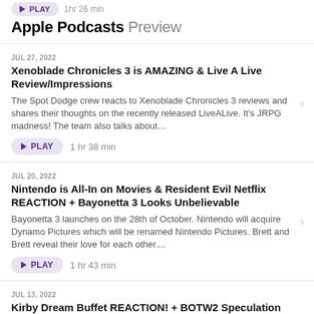Apple Podcasts Preview
JUL 27, 2022
Xenoblade Chronicles 3 is AMAZING & Live A Live Review/Impressions
The Spot Dodge crew reacts to Xenoblade Chronicles 3 reviews and shares their thoughts on the recently released LiveALive. It's JRPG madness! The team also talks about…
PLAY  1 hr 38 min
JUL 20, 2022
Nintendo is All-In on Movies & Resident Evil Netflix REACTION + Bayonetta 3 Looks Unbelievable
Bayonetta 3 launches on the 28th of October. Nintendo will acquire Dynamo Pictures which will be renamed Nintendo Pictures. Brett and Brett reveal their love for each other....
PLAY  1 hr 43 min
JUL 13, 2022
Kirby Dream Buffet REACTION! + BOTW2 Speculation + MORE!
Tonight on Spot Dodge: A Live Nintendo Podcast the crew talk about the much-announced Kirby title "Kirby D...